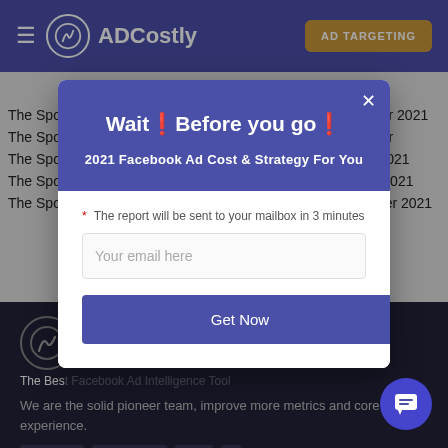ADCostly | AD TARGETING
Related articles to this post
The Sports category facebook ads cost in Malaysia December 2021
The Spo... December
The Spo... nber 2021
The Spo... ber 2021
The Spo... ber 2021
Wait❗Before you go❗
2021 Facebook Ad Cost & Strategy For You
* The report will be sent to your mailbox in 3 minutes
Your email here
Get Now
The Bes...
We are the solid pioneer team, improve more metrics and core experience.